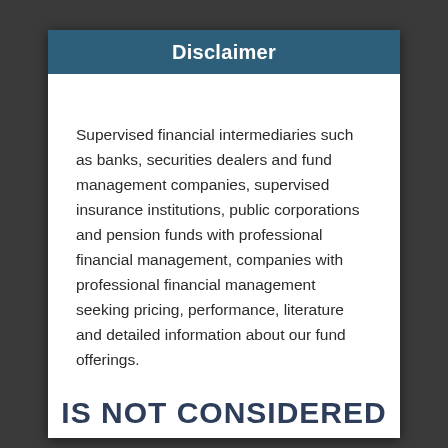Disclaimer
Supervised financial intermediaries such as banks, securities dealers and fund management companies, supervised insurance institutions, public corporations and pension funds with professional financial management, companies with professional financial management seeking pricing, performance, literature and detailed information about our fund offerings.
IS NOT CONSIDERED